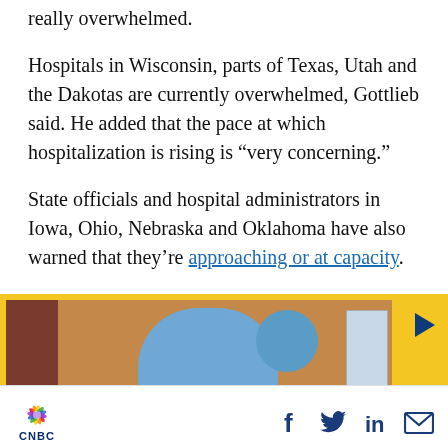really overwhelmed.
Hospitals in Wisconsin, parts of Texas, Utah and the Dakotas are currently overwhelmed, Gottlieb said. He added that the pace at which hospitalization is rising is “very concerning.”
State officials and hospital administrators in Iowa, Ohio, Nebraska and Oklahoma have also warned that they’re approaching or at capacity.
[Figure (photo): A healthcare worker in blue PPE gown, mask, and face shield, standing in a hospital or medical facility corridor. A yellow border frames the image. A play button is visible in the top right corner indicating a video.]
CNBC logo with social media icons: Facebook, Twitter, LinkedIn, Email